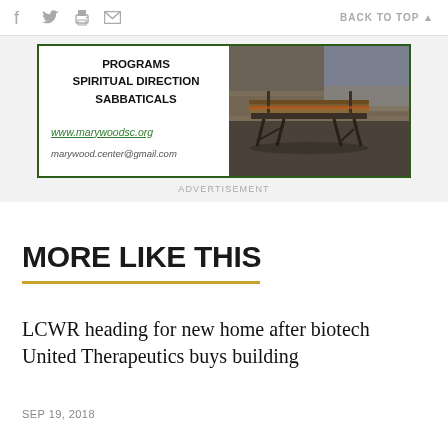f  Twitter  Print  Email    BACK TO TOP ▲
[Figure (other): Advertisement banner for Marywood Spirituality Center showing text: PROGRAMS SPIRITUAL DIRECTION SABBATICALS, www.marywoodsc.org, marywood.center@gmail.com, alongside a photo of a park bench outdoors]
ADVERTISEMENT
MORE LIKE THIS
LCWR heading for new home after biotech United Therapeutics buys building
SEP 19, 2018